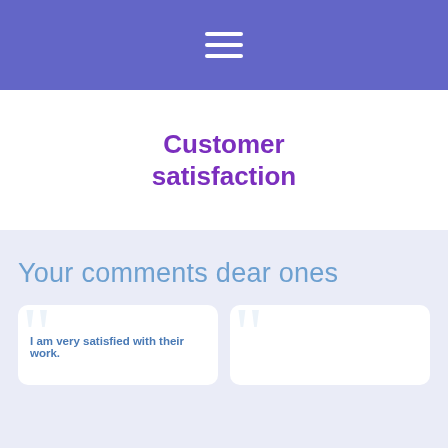[Figure (screenshot): Navigation bar with hamburger menu icon (three white horizontal lines) on a blue/purple background]
Customer satisfaction
Your comments dear ones
I am very satisfied with their work.